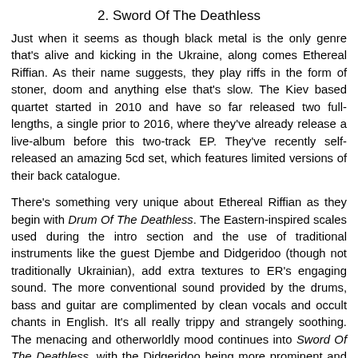2. Sword Of The Deathless
Just when it seems as though black metal is the only genre that's alive and kicking in the Ukraine, along comes Ethereal Riffian. As their name suggests, they play riffs in the form of stoner, doom and anything else that's slow. The Kiev based quartet started in 2010 and have so far released two full-lengths, a single prior to 2016, where they've already release a live-album before this two-track EP. They've recently self-released an amazing 5cd set, which features limited versions of their back catalogue.
There's something very unique about Ethereal Riffian as they begin with Drum Of The Deathless. The Eastern-inspired scales used during the intro section and the use of traditional instruments like the guest Djembe and Didgeridoo (though not traditionally Ukrainian), add extra textures to ER's engaging sound. The more conventional sound provided by the drums, bass and guitar are complimented by clean vocals and occult chants in English. It's all really trippy and strangely soothing. The menacing and otherworldly mood continues into Sword Of The Deathless, with the Didgeridoo being more prominent and lending to a sound that's akin to Aboriginal folk music. It's hypnotic at time, especially thanks to the repeated lyrics and accompanying